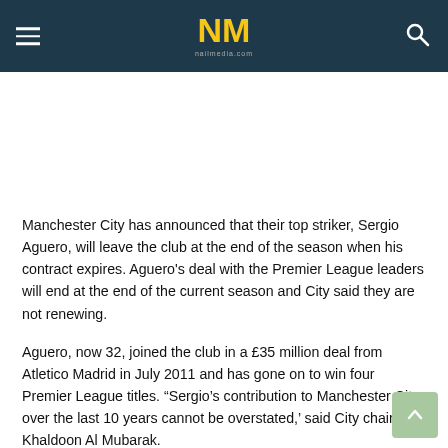NM nailmedia.com
Manchester City has announced that their top striker, Sergio Aguero, will leave the club at the end of the season when his contract expires. Aguero's deal with the Premier League leaders will end at the end of the current season and City said they are not renewing.
Aguero, now 32, joined the club in a £35 million deal from Atletico Madrid in July 2011 and has gone on to win four Premier League titles. “Sergio’s contribution to Manchester City over the last 10 years cannot be overstated,’ said City chairman Khaldoon Al Mubarak.